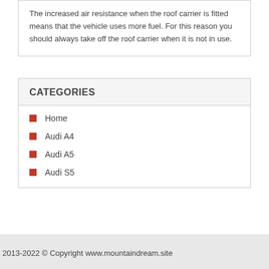The increased air resistance when the roof carrier is fitted means that the vehicle uses more fuel. For this reason you should always take off the roof carrier when it is not in use.
CATEGORIES
Home
Audi A4
Audi A5
Audi S5
2013-2022 © Copyright www.mountaindream.site